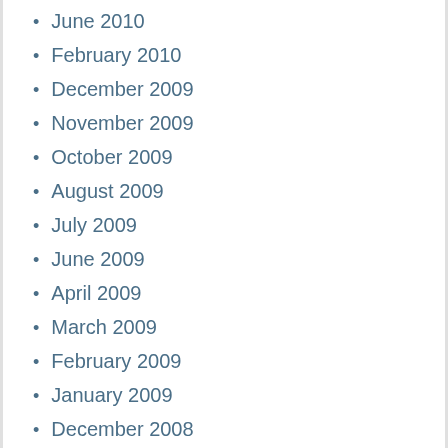June 2010
February 2010
December 2009
November 2009
October 2009
August 2009
July 2009
June 2009
April 2009
March 2009
February 2009
January 2009
December 2008
November 2008
October 2008
September 2008
August 2008
July 2008